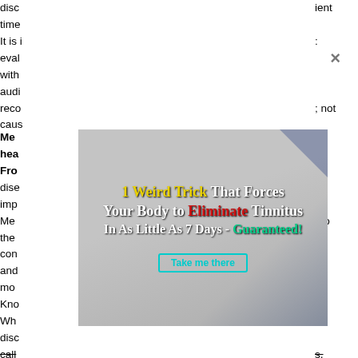disc
time
It is i
eval
with
audi
reco
caus
ient

:

; not
[Figure (infographic): Advertisement overlay showing a woman covering her ears with text: '1 Weird Trick That Forces Your Body to Eliminate Tinnitus In As Little As 7 Days - Guaranteed!' with a 'Take me there' button. Has an X close button in upper right.]
Men
hea
Fro
dis
imp
Men
the
con
and
mo
Kno
Wh
disc
call
the-
inst
meɵ
:
to
e
: to